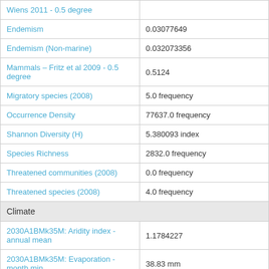| Layer/Metric | Value |
| --- | --- |
| Wiens 2011 - 0.5 degree |  |
| Endemism | 0.03077649 |
| Endemism (Non-marine) | 0.032073356 |
| Mammals – Fritz et al 2009 - 0.5 degree | 0.5124 |
| Migratory species (2008) | 5.0 frequency |
| Occurrence Density | 77637.0 frequency |
| Shannon Diversity (H) | 5.380093 index |
| Species Richness | 2832.0 frequency |
| Threatened communities (2008) | 0.0 frequency |
| Threatened species (2008) | 4.0 frequency |
| Climate |  |
| 2030A1BMk35M: Aridity index - annual mean | 1.1784227 |
| 2030A1BMk35M: Evaporation - month min | 38.83 mm |